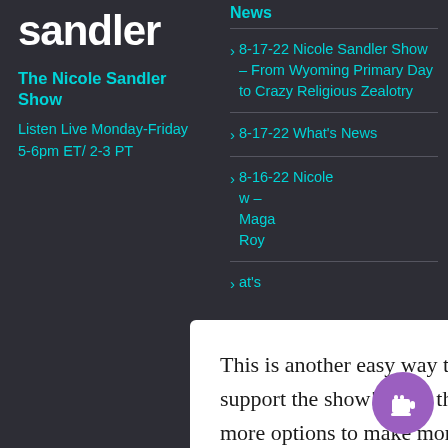sandler
The Nicole Sandler Show
Listen Live Monday-Friday
5-6pm ET/ 2-3 PT
News
8-17-22 Nicole Sandler Show – From Wyoming Primary Day to Crazy Religious Zealotry
8-17-22 What's News
8-16-22 Nicole [Show] – [Maga] [Roy]
[What's]
This is another easy way to donate to support the show! Click through for more options to make monthly donations.